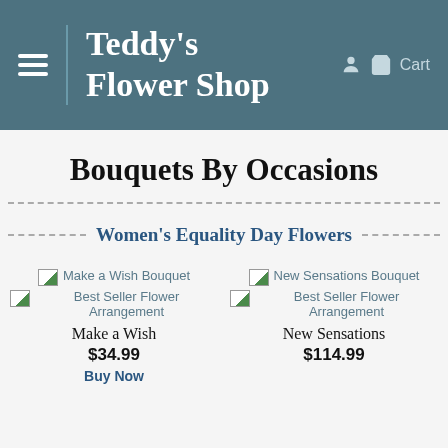Teddy's Flower Shop — Cart
Bouquets By Occasions
Women's Equality Day Flowers
[Figure (other): Product image placeholder for Make a Wish Bouquet Best Seller Flower Arrangement]
Make a Wish
$34.99
Buy Now
[Figure (other): Product image placeholder for New Sensations Bouquet Best Seller Flower Arrangement]
New Sensations
$114.99